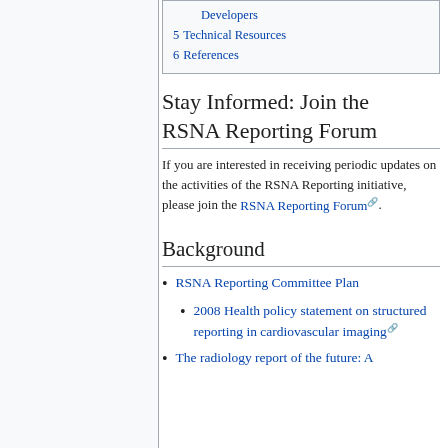Developers
5 Technical Resources
6 References
Stay Informed: Join the RSNA Reporting Forum
If you are interested in receiving periodic updates on the activities of the RSNA Reporting initiative, please join the RSNA Reporting Forum.
Background
RSNA Reporting Committee Plan
2008 Health policy statement on structured reporting in cardiovascular imaging
The radiology report of the future: A